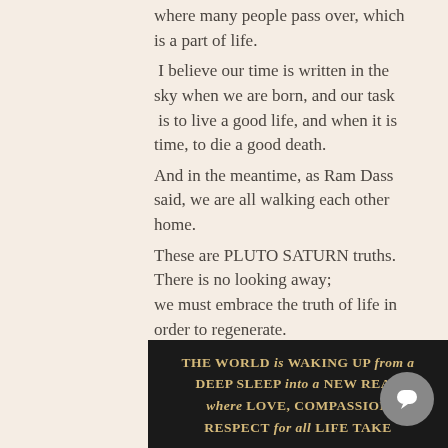where many people pass over, which is a part of life. I believe our time is written in the sky when we are born, and our task is to live a good life, and when it is time, to die a good death. And in the meantime, as Ram Dass said, we are all walking each other home. These are PLUTO SATURN truths. There is no looking away; we must embrace the truth of life in order to regenerate.
THE WORLD is WAKING UP from a DEEP SLEEP into a NEW REALITY where LOVE, COMPASSION, RESPECT for all LIFE TAKE CENTER STAGE